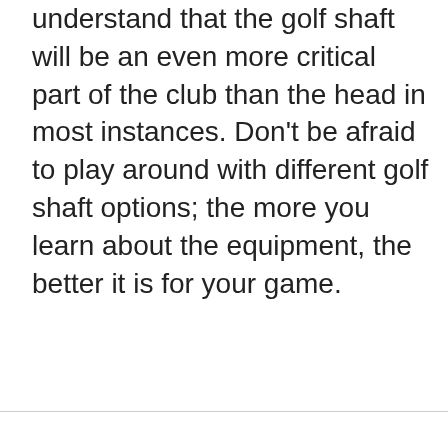understand that the golf shaft will be an even more critical part of the club than the head in most instances. Don't be afraid to play around with different golf shaft options; the more you learn about the equipment, the better it is for your game.